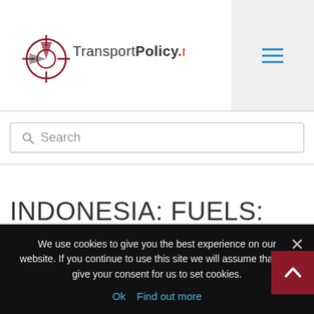[Figure (logo): TransportPolicy.net logo with compass/crosshair icon in red and black]
Search
INDONESIA: FUELS: DIESEL AND GASOLINE
We use cookies to give you the best experience on our website. If you continue to use this site we will assume that you give your consent for us to set cookies.
Ok   Find out more